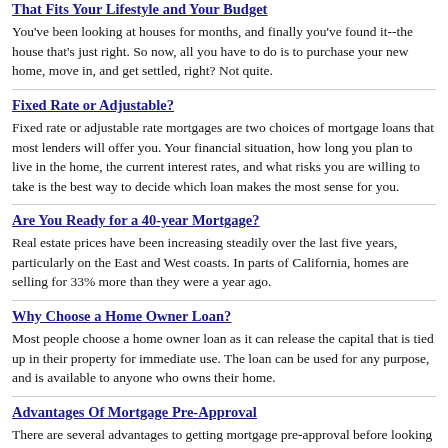That Fits Your Lifestyle and Your Budget
You've been looking at houses for months, and finally you've found it--the house that's just right. So now, all you have to do is to purchase your new home, move in, and get settled, right? Not quite.
Fixed Rate or Adjustable?
Fixed rate or adjustable rate mortgages are two choices of mortgage loans that most lenders will offer you. Your financial situation, how long you plan to live in the home, the current interest rates, and what risks you are willing to take is the best way to decide which loan makes the most sense for you.
Are You Ready for a 40-year Mortgage?
Real estate prices have been increasing steadily over the last five years, particularly on the East and West coasts. In parts of California, homes are selling for 33% more than they were a year ago.
Why Choose a Home Owner Loan?
Most people choose a home owner loan as it can release the capital that is tied up in their property for immediate use. The loan can be used for any purpose, and is available to anyone who owns their home.
Advantages Of Mortgage Pre-Approval
There are several advantages to getting mortgage pre-approval before looking for a